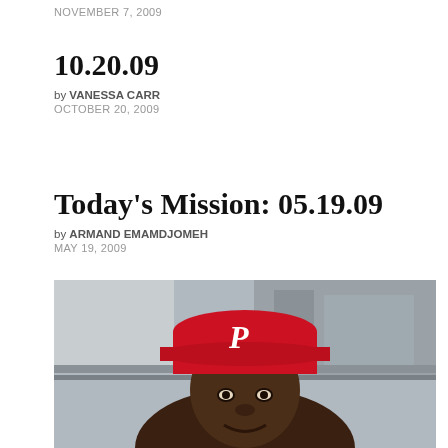NOVEMBER 7, 2009
10.20.09
by VANESSA CARR
OCTOBER 20, 2009
Today's Mission: 05.19.09
by ARMAND EMAMDJOMEH
MAY 19, 2009
[Figure (photo): A man wearing a red Philadelphia Phillies baseball cap, photographed outdoors in front of a building.]